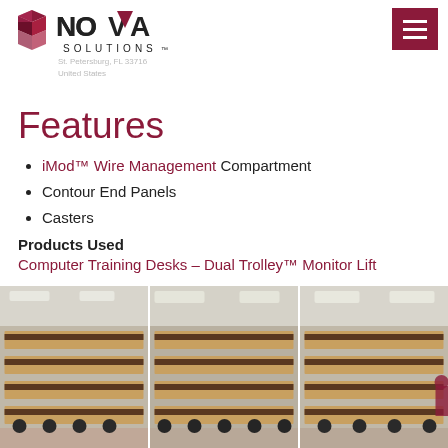Nova Solutions — Address: St. Petersburg, FL 33716, United States
Features
iMod™ Wire Management Compartment
Contour End Panels
Casters
Products Used
Computer Training Desks - Dual Trolley™ Monitor Lift
[Figure (photo): Three photos of a computer training room with rows of wooden desks fitted with monitor lifts and black chairs, shown from different angles.]